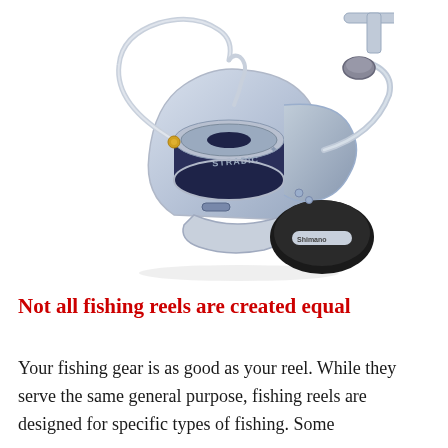[Figure (photo): A silver and dark blue Shimano spinning fishing reel (Stradic model) photographed on a white background, showing the spool, bail arm, handle knob, and body in detail.]
Not all fishing reels are created equal
Your fishing gear is as good as your reel. While they serve the same general purpose, fishing reels are designed for specific types of fishing. Some